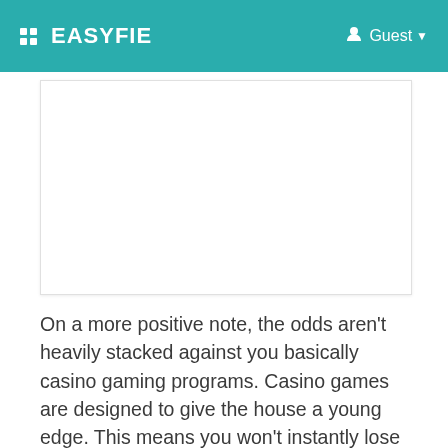EASYFIE  Guest
[Figure (other): White rectangular advertisement or image placeholder area]
On a more positive note, the odds aren't heavily stacked against you basically casino gaming programs. Casino games are designed to give the house a young edge. This means you won't instantly lose everything all without delay. You might even finish the night time a big winner.
Most casinos only allow visitors aged 21 and above. Bringing along anyone too young for